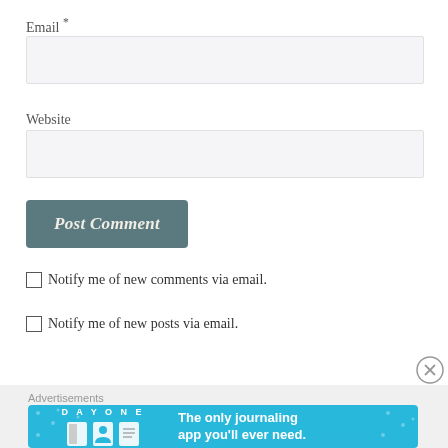Email *
Website
Post Comment
Notify me of new comments via email.
Notify me of new posts via email.
Advertisements
[Figure (other): Day One journaling app advertisement banner with blue background, app icons, and text 'The only journaling app you'll ever need.']